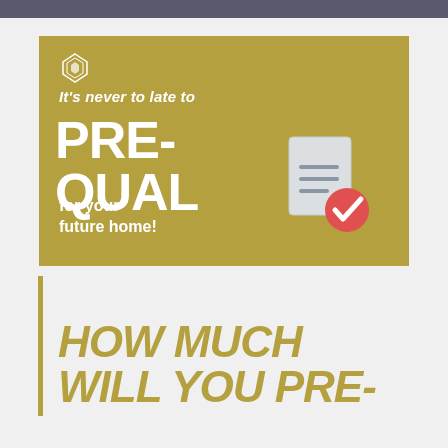[Figure (infographic): Gold/olive colored banner with white text reading 'It's never to late to PRE-QUAL for your future home!' with a small geometric logo at top and a document with red checkmark icon on the right side.]
HOW MUCH WILL YOU PRE-